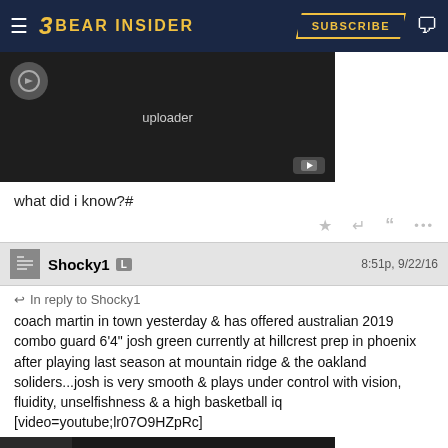Bear Insider | SUBSCRIBE
[Figure (screenshot): YouTube video placeholder with uploader label and YouTube button, dark background]
what did i know?#
Shocky1  L   8:51p, 9/22/16
In reply to Shocky1
coach martin in town yesterday & has offered australian 2019 combo guard 6'4" josh green currently at hillcrest prep in phoenix after playing last season at mountain ridge & the oakland soliders...josh is very smooth & plays under control with vision, fluidity, unselfishness & a high basketball iq
[video=youtube;lr07O9HZpRc]
[Figure (screenshot): YouTube video embed thumbnail showing #63 Josh Green, 6'4,... with play button]